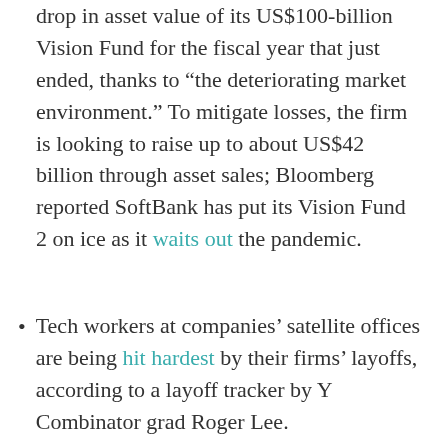drop in asset value of its US$100-billion Vision Fund for the fiscal year that just ended, thanks to “the deteriorating market environment.” To mitigate losses, the firm is looking to raise up to about US$42 billion through asset sales; Bloomberg reported SoftBank has put its Vision Fund 2 on ice as it waits out the pandemic.
Tech workers at companies’ satellite offices are being hit hardest by their firms’ layoffs, according to a layoff tracker by Y Combinator grad Roger Lee.
Amazon is hiring 75,000 more workers in its warehouse and delivery units after filling the 100,000 jobs it advertised last month. The